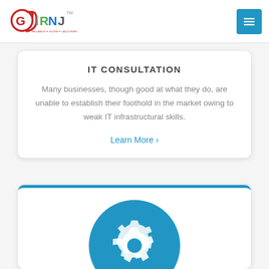[Figure (logo): GIRNJ logo with red circular arrow, green R, blue N, gray J, TM mark, tagline RELIABLE • NICHE • JAZZYWEB]
[Figure (other): Blue hamburger menu button with three white lines]
IT CONSULTATION
Many businesses, though good at what they do, are unable to establish their foothold in the market owing to weak IT infrastructural skills.
Learn More >
[Figure (other): Blue circle with white gear/settings icon inside a card with blue top border]